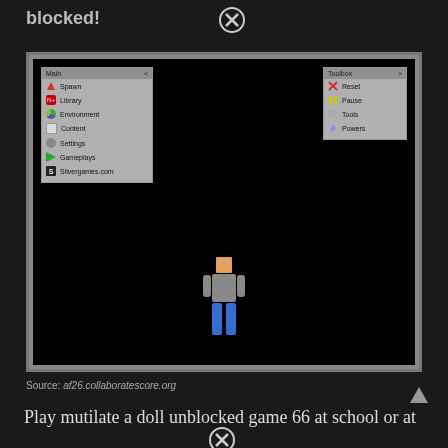blocked!
[Figure (screenshot): Screenshot of a game interface showing 'Mutilate a Doll' game with a character figure in the center on a black background. Left panel shows menu items: Spawn, Library, Environment, Content, Settings, Gameplays, Silvergames.com. Right panel shows Toolbox with Reset, Pause, Tools, Powers options.]
Source: af26.collaboratescore.org
Play mutilate a doll unblocked game 66 at school or at